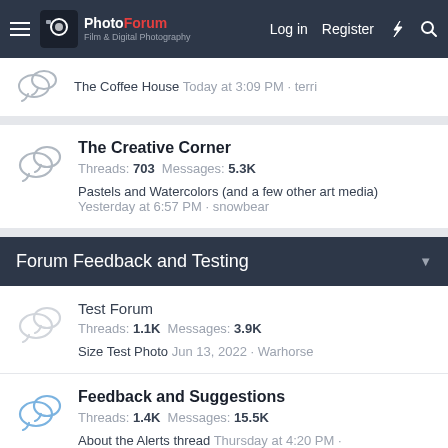The Photo Forum — Log in | Register
The Coffee House Today at 3:09 PM · terri
The Creative Corner
Threads: 703 Messages: 5.3K
Pastels and Watercolors (and a few other art media)
Yesterday at 6:57 PM · snowbear
Forum Feedback and Testing
Test Forum
Threads: 1.1K Messages: 3.9K
Size Test Photo Jun 13, 2022 · Warhorse
Feedback and Suggestions
Threads: 1.4K Messages: 15.5K
About the Alerts thread Thursday at 4:20 PM · Ozzie_Traveller